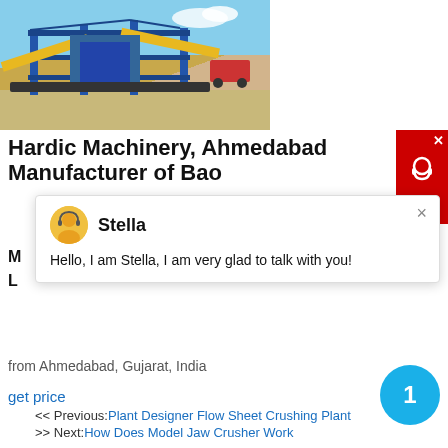[Figure (photo): Industrial crushing/screening plant machinery with yellow conveyor belts, blue steel structures, and sandy ground — Hardic Machinery, Ahmedabad]
Hardic Machinery, Ahmedabad Manufacturer of Bau...
[Figure (screenshot): Chat popup with avatar of agent 'Stella' and message: Hello, I am Stella, I am very glad to talk with you!]
from Ahmedabad, Gujarat, India
get price
<< Previous:Plant Designer Flow Sheet Crushing Plant
>> Next:How Does Model Jaw Crusher Work